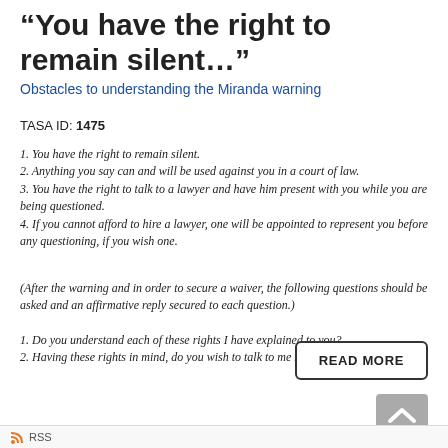“You have the right to remain silent…”
Obstacles to understanding the Miranda warning
TASA ID: 1475
1. You have the right to remain silent.
2. Anything you say can and will be used against you in a court of law.
3. You have the right to talk to a lawyer and have him present with you while you are being questioned.
4. If you cannot afford to hire a lawyer, one will be appointed to represent you before any questioning, if you wish one.
(After the warning and in order to secure a waiver, the following questions should be asked and an affirmative reply secured to each question.)
1. Do you understand each of these rights I have explained to you?
2. Having these rights in mind, do you wish to talk to me now?
RSS